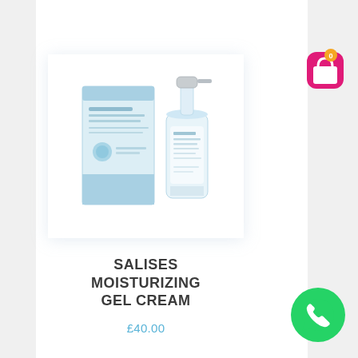[Figure (photo): Product image of Salises Moisturizing Gel Cream — a box and a pump bottle with light blue and white packaging]
SALISES MOISTURIZING GEL CREAM
£40.00
[Figure (illustration): Shopping cart button with a pink/magenta rounded square background and orange badge showing 0]
[Figure (illustration): WhatsApp floating button — green circle with white phone handset icon]